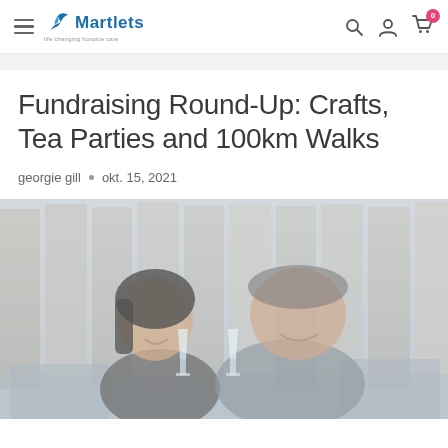Martlets — life changing hospice care
Fundraising Round-Up: Crafts, Tea Parties and 100km Walks
georgie gill • okt. 15, 2021
[Figure (photo): A smiling couple toasting with champagne flutes, seated outdoors against a wooden fence background. The photo has a light, faded quality.]